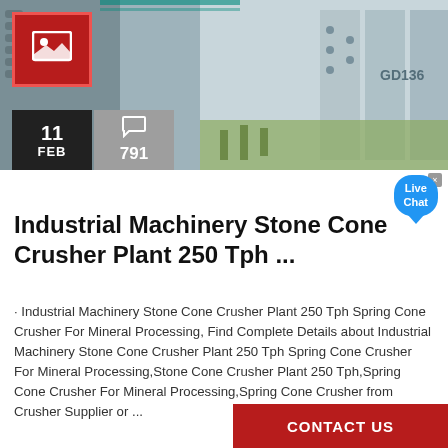[Figure (photo): Industrial machinery stone cone crusher equipment photo with overlaid date badge showing 11 FEB and comment count 791]
Industrial Machinery Stone Cone Crusher Plant 250 Tph ...
· Industrial Machinery Stone Cone Crusher Plant 250 Tph Spring Cone Crusher For Mineral Processing, Find Complete Details about Industrial Machinery Stone Cone Crusher Plant 250 Tph Spring Cone Crusher For Mineral Processing,Stone Cone Crusher Plant 250 Tph,Spring Cone Crusher For Mineral Processing,Spring Cone Crusher from Crusher Supplier or ...
CONTACT US